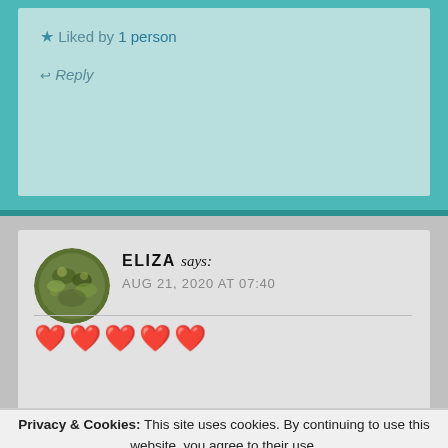★ Liked by 1 person
↩ Reply
ELIZA says: AUG 21, 2020 AT 07:40
❤️❤️❤️❤️❤️
Privacy & Cookies: This site uses cookies. By continuing to use this website, you agree to their use. To find out more, including how to control cookies, see here: Cookie Policy
Close and accept